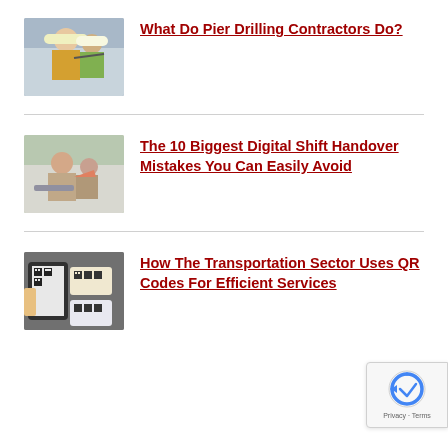[Figure (photo): Two construction workers in hard hats and safety vests pointing at something outdoors]
What Do Pier Drilling Contractors Do?
[Figure (photo): People in an office environment with one person gesturing]
The 10 Biggest Digital Shift Handover Mistakes You Can Easily Avoid
[Figure (photo): Hand holding a phone scanning QR codes on packages]
How The Transportation Sector Uses QR Codes For Efficient Services